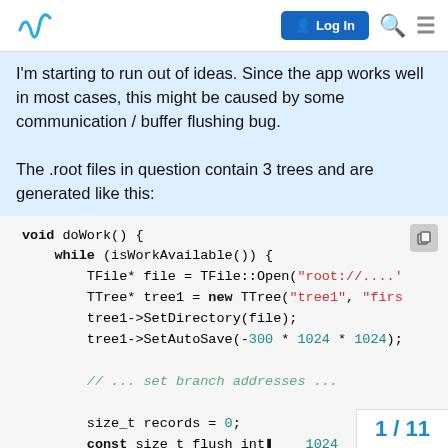Log In [search] [menu]
I'm starting to run out of ideas. Since the app works well in most cases, this might be caused by some communication / buffer flushing bug.

The .root files in question contain 3 trees and are generated like this:
[Figure (screenshot): Code block showing C++ code: void doWork() function with while loop, TFile and TTree creation, SetDirectory, SetAutoSave calls, comment about setting branch addresses, size_t records = 0, const size_t flush_int... = 1024, while (haveData()) {, // ... move data t...]
1 / 11